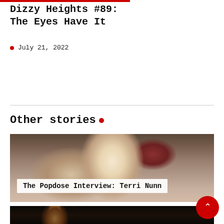Dizzy Heights #89: The Eyes Have It
July 21, 2022
Other stories •
[Figure (photo): Blonde woman reclining in a red chair, looking at camera. Overlay text reads: The Popdose Interview: Terri Nunn]
The Popdose Interview: Terri Nunn
[Figure (photo): Dark concert photo showing a performer on stage, partially visible at bottom of page]